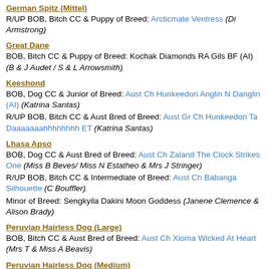German Spitz (Mittel)
R/UP BOB, Bitch CC & Puppy of Breed: Arcticmate Ventress (Di Armstrong)
Great Dane
BOB, Bitch CC & Puppy of Breed: Kochak Diamonds RA Gils BF (AI) (B & J Audet / S & L Arrowsmith)
Keeshond
BOB, Dog CC & Junior of Breed: Aust Ch Hunkeedori Anglin N Danglin (AI) (Katrina Santas)
R/UP BOB, Bitch CC & Aust Bred of Breed: Aust Gr Ch Hunkeedori Ta Daaaaaaahhhhhhhh ET (Katrina Santas)
Lhasa Apso
BOB, Dog CC & Aust Bred of Breed: Aust Ch Zaland The Clock Strikes One (Miss B Beves/ Miss N Estatheo & Mrs J Stringer)
R/UP BOB, Bitch CC & Intermediate of Breed: Aust Ch Babanga Silhouette (C Bouffler)
Minor of Breed: Sengkyila Dakini Moon Goddess (Janene Clemence & Alison Brady)
Peruvian Hairless Dog (Large)
BOB, Bitch CC & Aust Bred of Breed: Aust Ch Xioma Wicked At Heart (Mrs T & Miss A Beavis)
Peruvian Hairless Dog (Medium)